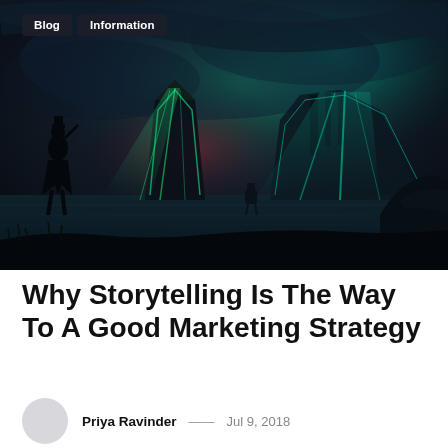[Figure (illustration): Dark fantasy/sci-fi illustration showing a silhouetted figure on the left standing before large glowing alien or ancient structures with green and teal light beams against a dark stormy sky, with a reflective ground surface and another small figure in the middle distance.]
Why Storytelling Is The Way To A Good Marketing Strategy
Priya Ravinder — Jul 9, 2018